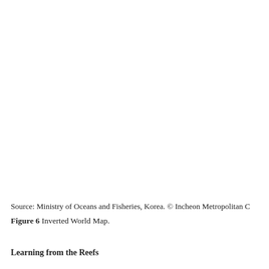[Figure (map): Blank white area where an inverted world map image would appear (image not rendered in this crop).]
Source: Ministry of Oceans and Fisheries, Korea. © Incheon Metropolitan C
Figure 6 Inverted World Map.
Learning from the Reefs